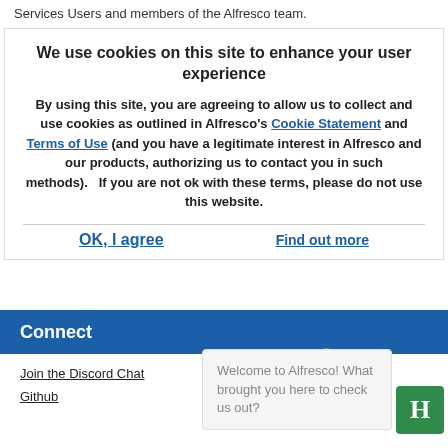Services Users and members of the Alfresco team.
Related links:
We use cookies on this site to enhance your user experience
By using this site, you are agreeing to allow us to collect and use cookies as outlined in Alfresco's Cookie Statement and Terms of Use (and you have a legitimate interest in Alfresco and our products, authorizing us to contact you in such methods).   If you are not ok with these terms, please do not use this website.
OK, I agree
Find out more
Connect
Join the Discord Chat
Github
Welcome to Alfresco! What brought you here to check us out?